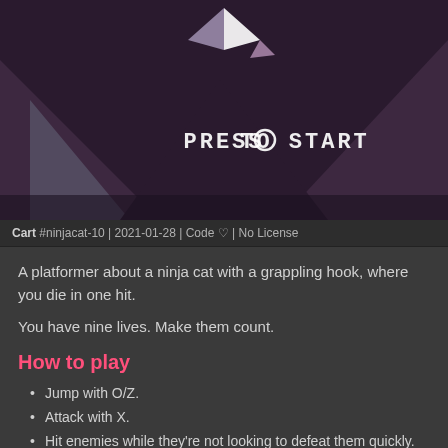[Figure (screenshot): A pixel-art game screenshot showing a dark purple/maroon scene with mountain silhouettes, a play button icon at top, and white pixelated text reading 'PRESS O TO START']
Cart #ninjacat-10 | 2021-01-28 | Code ♡ | No License
A platformer about a ninja cat with a grappling hook, where you die in one hit.
You have nine lives. Make them count.
How to play
Jump with O/Z.
Attack with X.
Hit enemies while they're not looking to defeat them quickly.